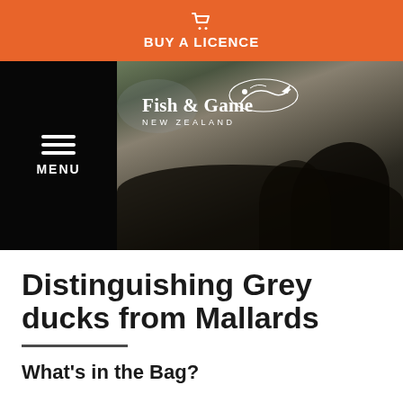BUY A LICENCE
[Figure (photo): Hero image showing hunters in a dark outdoor scene with Fish & Game New Zealand logo overlay and menu button]
Distinguishing Grey ducks from Mallards
What's in the Bag?